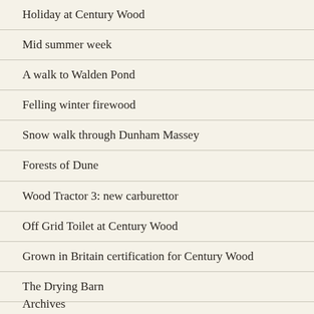Holiday at Century Wood
Mid summer week
A walk to Walden Pond
Felling winter firewood
Snow walk through Dunham Massey
Forests of Dune
Wood Tractor 3: new carburettor
Off Grid Toilet at Century Wood
Grown in Britain certification for Century Wood
The Drying Barn
Archives